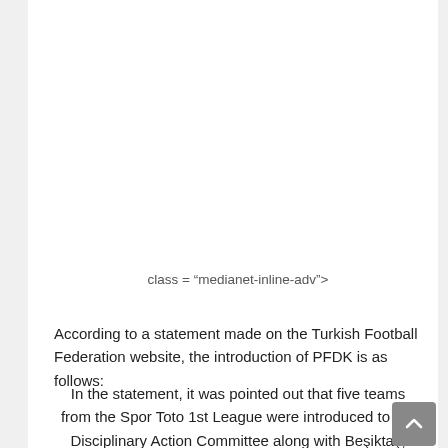class = “medianet-inline-adv”>
According to a statement made on the Turkish Football Federation website, the introduction of PFDK is as follows:
In the statement, it was pointed out that five teams from the Spor Toto 1st League were introduced to the Disciplinary Action Committee along with Beşiktaş, Hatayspor and Başakşehir.